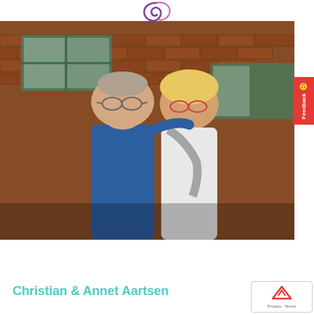[Figure (logo): Decorative swirl/spiral logo in purple at the top center of the page]
[Figure (photo): Photograph of a middle-aged couple standing in front of a brick wall with green-framed windows. The man on the left has grey hair and glasses, wearing a blue shirt. The woman on the right has blonde hair and red-framed glasses, wearing a white top with a grey floral scarf. His arm is around her shoulders.]
Christian & Annet Aartsen